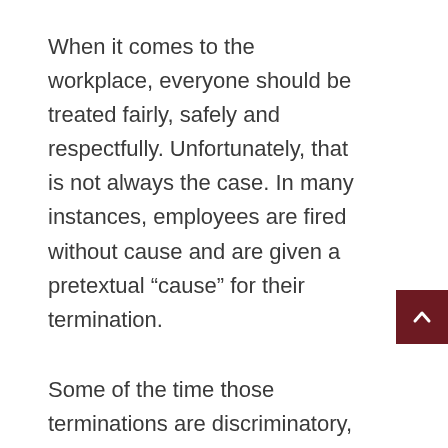When it comes to the workplace, everyone should be treated fairly, safely and respectfully. Unfortunately, that is not always the case. In many instances, employees are fired without cause and are given a pretextual “cause” for their termination.
Some of the time those terminations are discriminatory, and the law provides remedies for such discriminatory firings. There are a variety of issues that can arise, and [nap_names id=“FIRM-NAME-1”] is here to